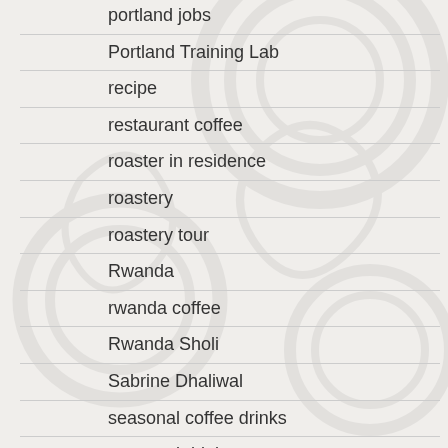portland jobs
Portland Training Lab
recipe
restaurant coffee
roaster in residence
roastery
roastery tour
Rwanda
rwanda coffee
Rwanda Sholi
Sabrine Dhaliwal
seasonal coffee drinks
seasonal drinks
Seattle
Seattle Coffee
seattle coffee roaster